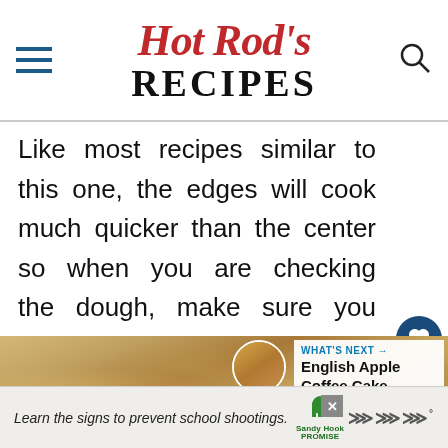Hot Rod's RECIPES
Like most recipes similar to this one, the edges will cook much quicker than the center so when you are checking the dough, make sure you check the middle to ensure it is cooked.
[Figure (photo): Close-up photo of baked crumbly dough/granola texture with a 'WHAT'S NEXT → English Apple Coffee Cake' overlay in the top right corner]
Learn the signs to prevent school shootings.